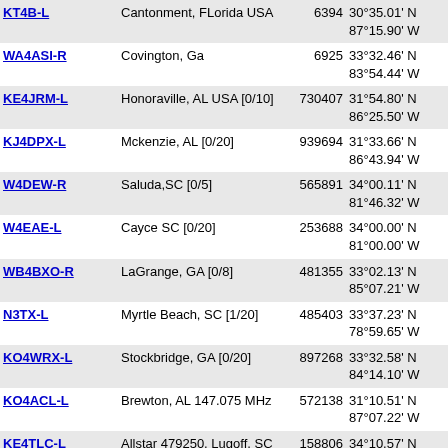| Callsign | Location | Node | Coordinates | Grid |
| --- | --- | --- | --- | --- |
| KT4B-L | Cantonment, FLorida USA | 6394 | 30°35.01' N 87°15.90' W | EM60io |
| WA4ASI-R | Covington, Ga | 6925 | 33°32.46' N 83°54.44' W | EM83bm |
| KE4JRM-L | Honoraville, AL USA [0/10] | 730407 | 31°54.80' N 86°25.50' W | EM61sv |
| KJ4DPX-L | Mckenzie, AL [0/20] | 939694 | 31°33.66' N 86°43.94' W | EM61pn |
| W4DEW-R | Saluda,SC [0/5] | 565891 | 34°00.11' N 81°46.32' W | EM94ca |
| W4EAE-L | Cayce SC [0/20] | 253688 | 34°00.00' N 81°00.00' W | EM94ma |
| WB4BXO-R | LaGrange, GA [0/8] | 481355 | 33°02.13' N 85°07.21' W | EM73ka |
| N3TX-L | Myrtle Beach, SC [1/20] | 485403 | 33°37.23' N 78°59.65' W | FM03mo |
| KO4WRX-L | Stockbridge, GA [0/20] | 897268 | 33°32.58' N 84°14.10' W | EM73vn |
| KO4ACL-L | Brewton, AL 147.075 MHz | 572138 | 31°10.51' N 87°07.22' W | EM61ke |
| KE4TLC-L | Allstar 479250, Lugoff, SC | 158806 | 34°10.57' N 80°45.65' W | EM94oe |
| KE4TLC-R | Lugoff, S.C. [0/20] | 208583 | 34°10.57' N 80°45.65' W | EM94oe |
| W4BOC-R | Stone Mountain, Georgia | 330246 | 33°48.19' N 84°08.43' W | EM73wt |
| KA3KDL-R | Florence, SC [1/20] | 41809 | 34°06.60' N | EM94gc |